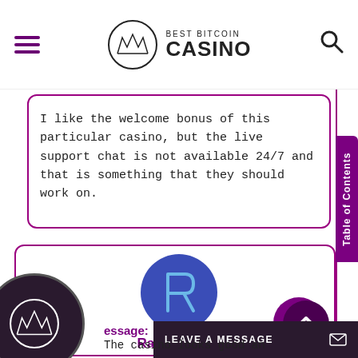Best Bitcoin Casino
I like the welcome bonus of this particular casino, but the live support chat is not available 24/7 and that is something that they should work on.
[Figure (illustration): Blue circle avatar with letter R in outline style]
2/5
Rafael Mears
Message:
The casino looks good an...